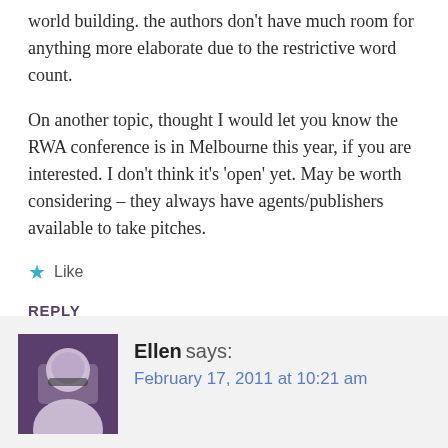world building. the authors don't have much room for anything more elaborate due to the restrictive word count.
On another topic, thought I would let you know the RWA conference is in Melbourne this year, if you are interested. I don't think it's 'open' yet. May be worth considering – they always have agents/publishers available to take pitches.
★ Like
REPLY
Ellen says: February 17, 2011 at 10:21 am